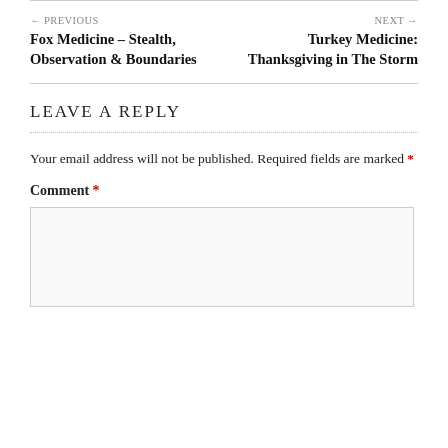← PREVIOUS
Fox Medicine – Stealth, Observation & Boundaries
NEXT →
Turkey Medicine: Thanksgiving in The Storm
LEAVE A REPLY
Your email address will not be published. Required fields are marked *
Comment *